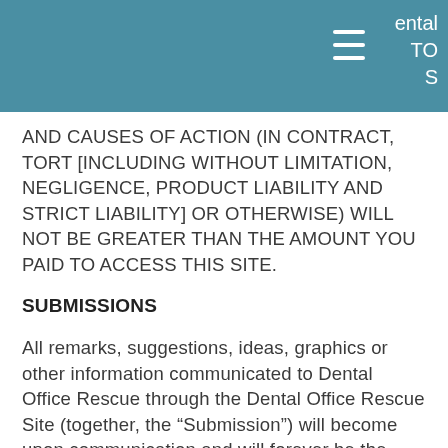ental TO S
AND CAUSES OF ACTION (IN CONTRACT, TORT [INCLUDING WITHOUT LIMITATION, NEGLIGENCE, PRODUCT LIABILITY AND STRICT LIABILITY] OR OTHERWISE) WILL NOT BE GREATER THAN THE AMOUNT YOU PAID TO ACCESS THIS SITE.
SUBMISSIONS
All remarks, suggestions, ideas, graphics or other information communicated to Dental Office Rescue through the Dental Office Rescue Site (together, the “Submission”) will become upon communication and will forever be the property of Dental Office Rescue Dental Office Rescue will not be required to treat any Submission as confidential and will not be liable for